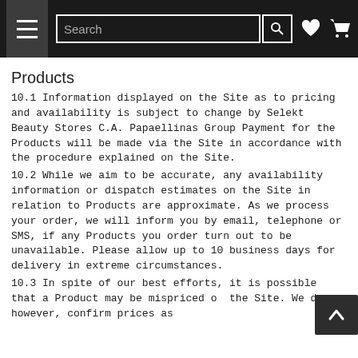Navigation bar with hamburger menu, search bar, wishlist and cart icons
Products
10.1 Information displayed on the Site as to pricing and availability is subject to change by Selekt Beauty Stores C.A. Papaellinas Group Payment for the Products will be made via the Site in accordance with the procedure explained on the Site.
10.2 While we aim to be accurate, any availability information or dispatch estimates on the Site in relation to Products are approximate. As we process your order, we will inform you by email, telephone or SMS, if any Products you order turn out to be unavailable. Please allow up to 10 business days for delivery in extreme circumstances.
10.3 In spite of our best efforts, it is possible that a Product may be mispriced on the Site. We do, however, confirm prices as